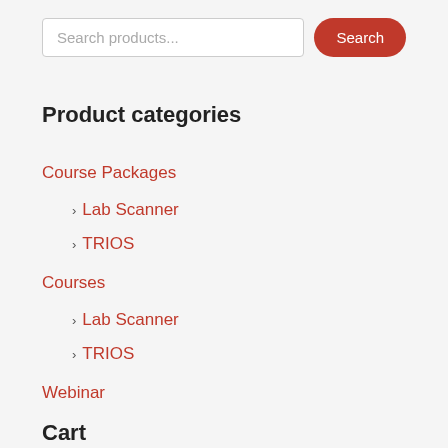Search products...
Product categories
Course Packages
> Lab Scanner
> TRIOS
Courses
> Lab Scanner
> TRIOS
Webinar
Cart